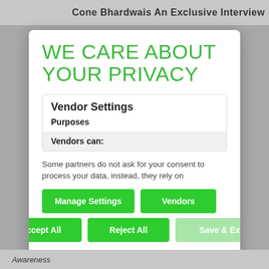Cone Bhardwais An Exclusive Interview
WE CARE ABOUT YOUR PRIVACY
Vendor Settings
Purposes
Vendors can:
Some partners do not ask for your consent to process your data, instead, they rely on
Manage Settings
Vendors
Accept All
Reject All
Save & Exit
Awareness